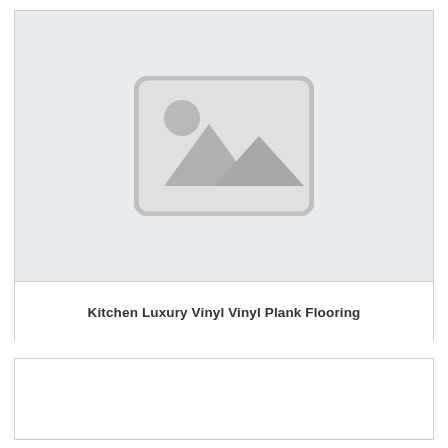[Figure (photo): Placeholder image with gray background and image icon (mountains and sun) representing Kitchen Luxury Vinyl Vinyl Plank Flooring product]
Kitchen Luxury Vinyl Vinyl Plank Flooring
[Figure (photo): Partially visible second product card with white background, content not visible]